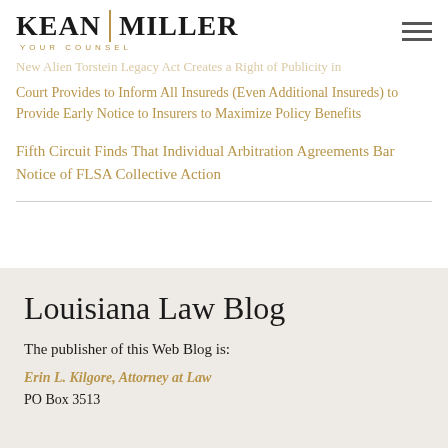Kean Miller — Your Counsel
New Alien Torstein Legacy Act Creates a Right of Publicity in
Court Provides to Inform All Insureds (Even Additional Insureds) to Provide Early Notice to Insurers to Maximize Policy Benefits
Fifth Circuit Finds That Individual Arbitration Agreements Bar Notice of FLSA Collective Action
Louisiana Law Blog
The publisher of this Web Blog is:
Erin L. Kilgore, Attorney at Law
PO Box 3513